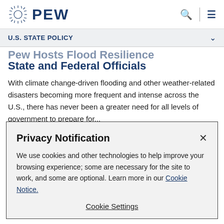PEW
U.S. STATE POLICY
Pew Hosts Flood Resilience Workshops for State and Federal Officials
With climate change-driven flooding and other weather-related disasters becoming more frequent and intense across the U.S., there has never been a greater need for all levels of government to prepare for...
Privacy Notification
We use cookies and other technologies to help improve your browsing experience; some are necessary for the site to work, and some are optional. Learn more in our Cookie Notice.
Cookie Settings